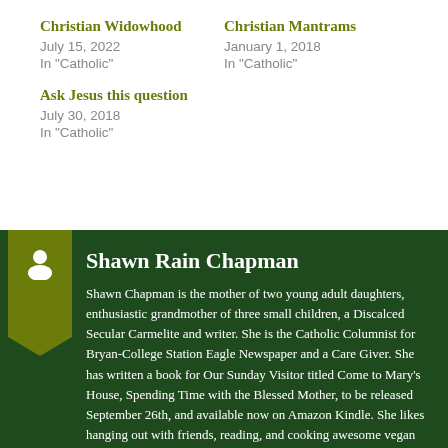Christian Widowhood
July 15, 2022
In "Catholic"
Christian Mantrams
January 1, 2018
In "Catholic"
Ask Jesus this question
July 30, 2018
In "Catholic"
Shawn Rain Chapman
Shawn Chapman is the mother of two young adult daughters, enthusiastic grandmother of three small children, a Discalced Secular Carmelite and writer. She is the Catholic Columnist for Bryan-College Station Eagle Newspaper and a Care Giver. She has written a book for Our Sunday Visitor titled Come to Mary's House, Spending Time with the Blessed Mother, to be released September 26th, and available now on Amazon Kindle. She likes hanging out with friends, reading, and cooking awesome vegan food.